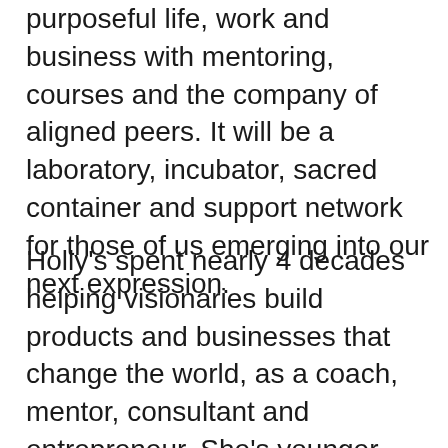purposeful life, work and business with mentoring, courses and the company of aligned peers. It will be a laboratory, incubator, sacred container and support network for those of us emerging into our next expression.
Holly's spent nearly 4 decades helping visionaries build products and businesses that change the world, as a coach, mentor, consultant and entrepreneur. She's younger than she's ever been because her purpose inspires her to keep making a difference. That's what she wants for you, too. Holly